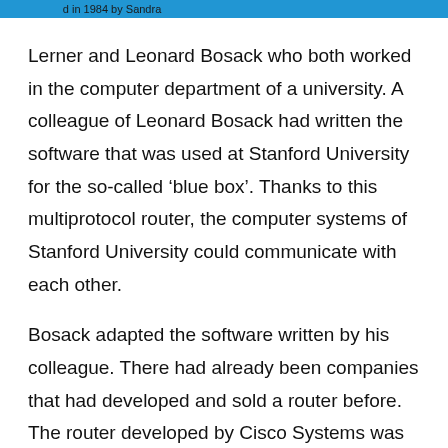d in 1984 by Sandra
Lerner and Leonard Bosack who both worked in the computer department of a university. A colleague of Leonard Bosack had written the software that was used at Stanford University for the so-called ‘blue box’. Thanks to this multiprotocol router, the computer systems of Stanford University could communicate with each other.
Bosack adapted the software written by his colleague. There had already been companies that had developed and sold a router before. The router developed by Cisco Systems was the first successful multi-protocol router that allowed